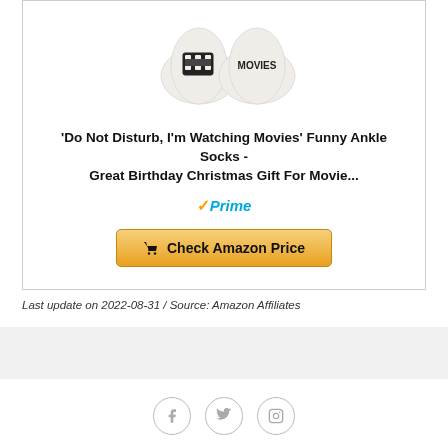[Figure (photo): Two ankle socks on white background, showing movie clapperboard icon and MOVIES text on the soles]
'Do Not Disturb, I'm Watching Movies' Funny Ankle Socks - Great Birthday Christmas Gift For Movie...
Prime (Amazon Prime badge)
Check Amazon Price (button)
Last update on 2022-08-31 / Source: Amazon Affiliates
[Figure (logo): Motoflix brand logo in dark red serif font, partially visible at bottom]